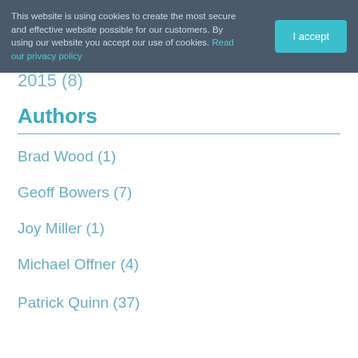This website is using cookies to create the most secure and effective website possible for our customers. By using our website you accept our use of cookies. Read our privacy policy
I accept
2015 (8)
Authors
Brad Wood (1)
Geoff Bowers (7)
Joy Miller (1)
Michael Offner (4)
Patrick Quinn (37)